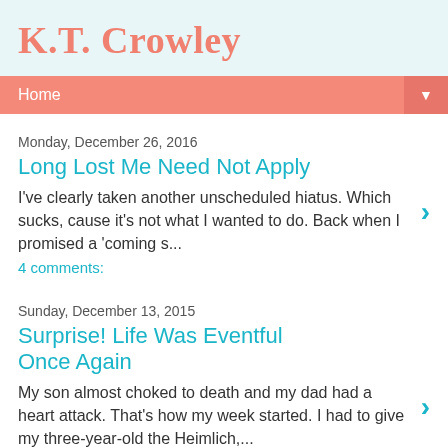K.T. Crowley
Home
Monday, December 26, 2016
Long Lost Me Need Not Apply
I've clearly taken another unscheduled hiatus. Which sucks, cause it's not what I wanted to do. Back when I promised a 'coming s...
4 comments:
Sunday, December 13, 2015
Surprise! Life Was Eventful Once Again
My son almost choked to death and my dad had a heart attack. That's how my week started. I had to give my three-year-old the Heimlich,...
2 comments: